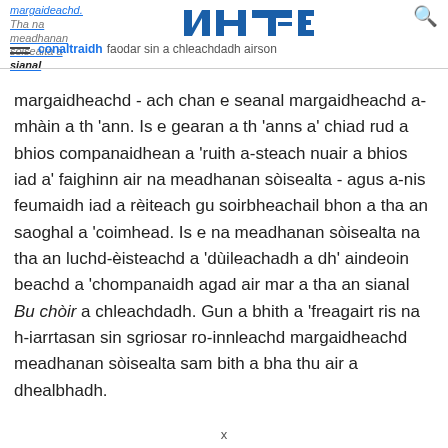margaideachd. Tha na meadhanan sòisealta a sianal conaltraidh faodar sin a chleachdadh airson
[Figure (logo): NTE logo - stylized letters NTE in blue on white background]
margaidheachd - ach chan e seanal margaidheachd a-mhàin a th 'ann. Is e gearan a th 'anns a' chiad rud a bhios companaidhean a 'ruith a-steach nuair a bhios iad a' faighinn air na meadhanan sòisealta - agus a-nis feumaidh iad a rèiteach gu soirbheachail bhon a tha an saoghal a 'coimhead. Is e na meadhanan sòisealta na tha an luchd-èisteachd a 'dùileachadh a dh' aindeoin beachd a 'chompanaidh agad air mar a tha an sianal Bu chòir a chleachdadh. Gun a bhith a 'freagairt ris na h-iarrtasan sin sgriosar ro-innleachd margaidheachd meadhanan sòisealta sam bith a bha thu air a dhealbhadh.
x